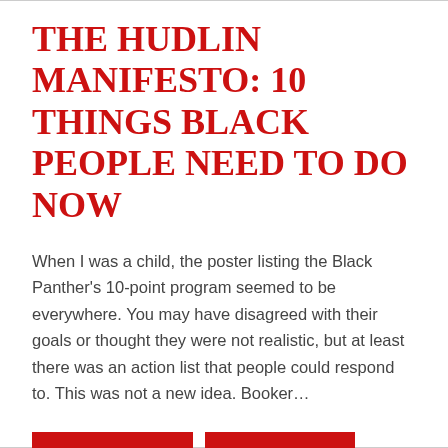THE HUDLIN MANIFESTO: 10 THINGS BLACK PEOPLE NEED TO DO NOW
When I was a child, the poster listing the Black Panther's 10-point program seemed to be everywhere. You may have disagreed with their goals or thought they were not realistic, but at least there was an action list that people could respond to. This was not a new idea. Booker...
Comments Off
+ Read More